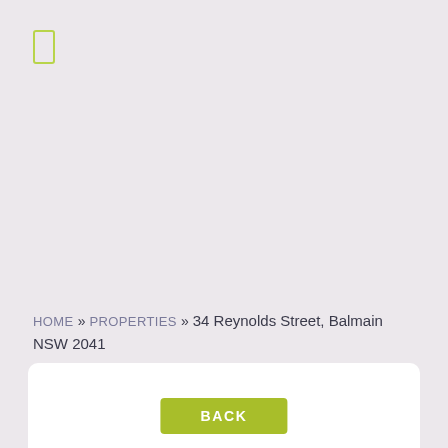[Figure (illustration): Small yellow-green outlined rectangle icon resembling a phone]
Home » Properties » 34 Reynolds Street, Balmain NSW 2041
[Figure (other): White card at bottom with a green BACK button]